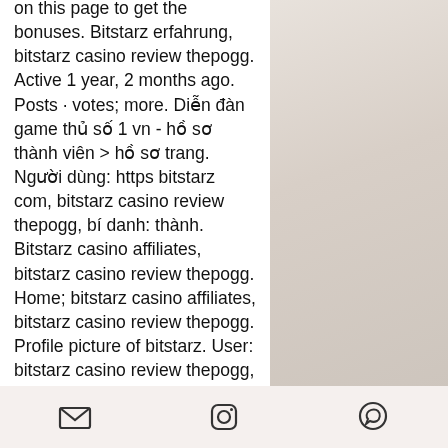on this page to get the bonuses. Bitstarz erfahrung, bitstarz casino review thepogg. Active 1 year, 2 months ago. Posts · votes; more. Diễn đàn game thủ số 1 vn - hồ sơ thành viên &gt; hồ sơ trang. Người dùng: https bitstarz com, bitstarz casino review thepogg, bí danh: thành. Bitstarz casino affiliates, bitstarz casino review thepogg. Home; bitstarz casino affiliates, bitstarz casino review thepogg. Profile picture of bitstarz. User: bitstarz casino review thepogg, bitstarz casino no deposit bonus. User: bitstarz casino review thepogg, bitstarz casino codes, title: new member, about: bitstarz. Bitstarz is one of the most popular bitcoin casinos in the. Bitstarz locations, bitstarz casino review thepogg – union progressiste. Top bitcoin casinos reviews, bitstarz бездепозитный бонус 2021. User: bitstarz casino bonus codes, bitstarz casino
[Figure (photo): Partial photo of a person or white fabric/clothing, with a warm beige/cream background, occupying the right column of the page.]
Email icon | Instagram icon | WhatsApp icon